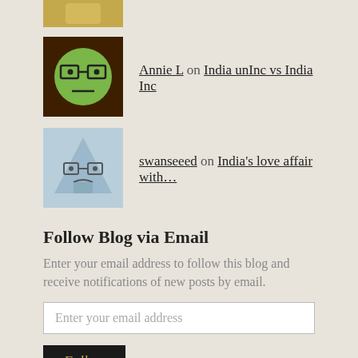[Figure (illustration): Partial view of a cartoon avatar with golden/yellow background at top]
Annie L on India unInc vs India Inc
[Figure (illustration): Cartoon avatar of a green round face with glasses on dark brown background]
swanseeed on India's love affair with...
[Figure (illustration): Cartoon avatar of a blue-grey triangle-shaped figure on light blue background]
Follow Blog via Email
Enter your email address to follow this blog and receive notifications of new posts by email.
Enter your email address
Follow
Join 869 other followers
Feeds
RSS - Posts